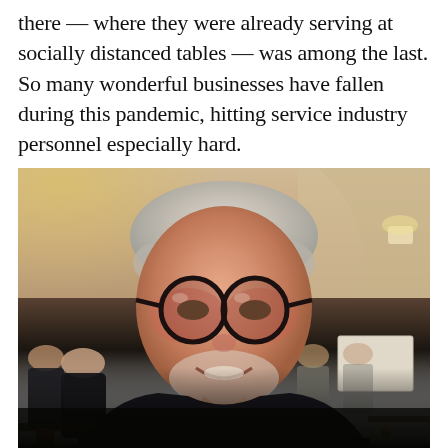there — where they were already serving at socially distanced tables — was among the last. So many wonderful businesses have fallen during this pandemic, hitting service industry personnel especially hard.
[Figure (photo): An older man with white/grey hair and round dark-framed glasses, wearing a dark navy sweater over a collared shirt, smiling at the camera in what appears to be an upscale restaurant with warm lighting, arched ceilings, and other diners visible in the background.]